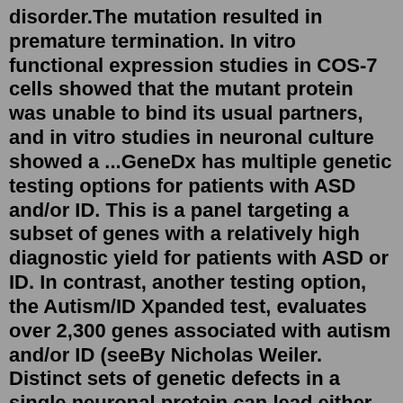disorder.The mutation resulted in premature termination. In vitro functional expression studies in COS-7 cells showed that the mutant protein was unable to bind its usual partners, and in vitro studies in neuronal culture showed a ...GeneDx has multiple genetic testing options for patients with ASD and/or ID. This is a panel targeting a subset of genes with a relatively high diagnostic yield for patients with ASD or ID. In contrast, another testing option, the Autism/ID Xpanded test, evaluates over 2,300 genes associated with autism and/or ID (seeBy Nicholas Weiler. Distinct sets of genetic defects in a single neuronal protein can lead either to infantile epilepsy or to autism spectrum disorders (ASDs), depending on whether the respective mutations boost the protein's function or sabotage it, according to a new study by UC San Francisco researchers. Tracing how these particular ...May 05, 2022 · Autism may develop from a combination of contributing factors, including a genetic component, according to the Centers for